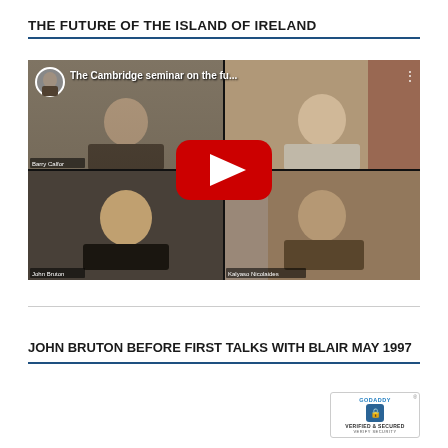THE FUTURE OF THE ISLAND OF IRELAND
[Figure (screenshot): YouTube video thumbnail showing a 2x2 video conference grid with four participants: Barry Calfor (top left), an older gentleman (top right), John Bruton (bottom left), and Kalyaso Nicolaides (bottom right). The video is titled 'The Cambridge seminar on the fu...' with a red YouTube play button overlay in the center.]
JOHN BRUTON BEFORE FIRST TALKS WITH BLAIR MAY 1997